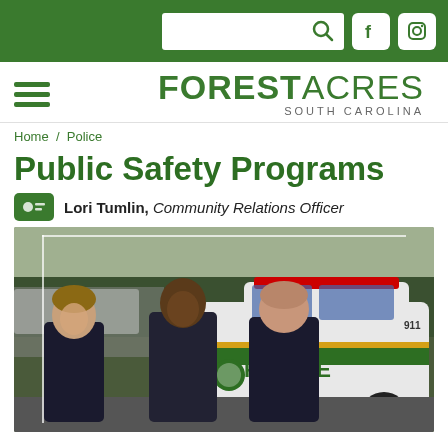Forest Acres South Carolina — navigation header with search, Facebook, Instagram icons
[Figure (logo): Forest Acres South Carolina logo with hamburger menu]
Home / Police
Public Safety Programs
Lori Tumlin, Community Relations Officer
[Figure (photo): Three police officers in dark uniforms standing in front of a Forest Acres Police SUV in a parking lot]